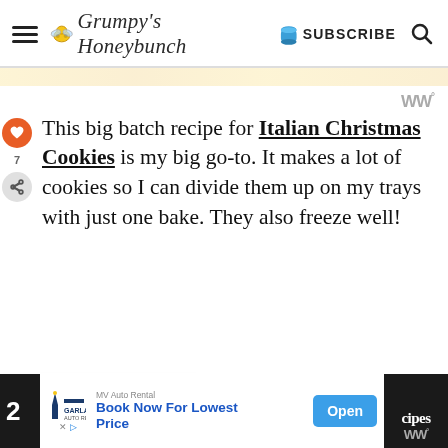Grumpy's Honeybunch — SUBSCRIBE
WW°
This big batch recipe for Italian Christmas Cookies is my big go-to. It makes a lot of cookies so I can divide them up on my trays with just one bake. They also freeze well!
Be sure to check out this list of the
[Figure (infographic): What's Next widget with Chocolate Hazelnut... thumbnail and small image of chocolate hazelnut cookies]
[Figure (infographic): Advertisement bar: MV Auto Rental - Book Now For Lowest Price, Open button, dark side panel with 'cipes WW°']